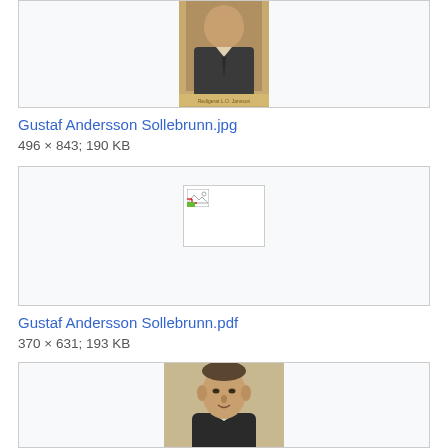[Figure (photo): Top partial: a sepia-toned portrait photograph of a man in a suit, partially cut off at top of page, centered in a light gray bordered box]
Gustaf Andersson Sollebrunn.jpg
496 × 843; 190 KB
[Figure (photo): A broken/missing image placeholder thumbnail in a light gray bordered box]
Gustaf Andersson Sollebrunn.pdf
370 × 631; 193 KB
[Figure (photo): A sepia-toned portrait photograph of an older man in a dark suit and bow tie, seated, partially cut off at bottom of page, centered in a light gray bordered box]